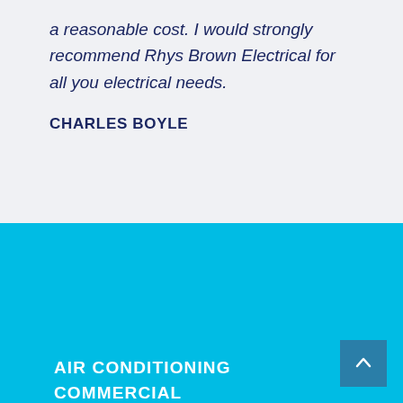a reasonable cost. I would strongly recommend Rhys Brown Electrical for all you electrical needs.
CHARLES BOYLE
AIR CONDITIONING
COMMERCIAL